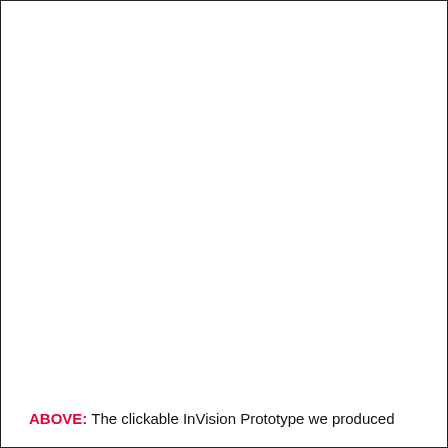ABOVE: The clickable InVision Prototype we produced